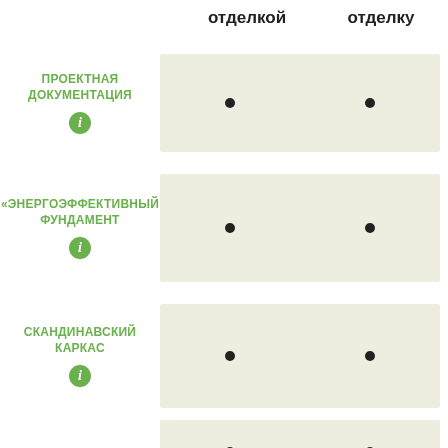отделкой   отделку
ПРОЕКТНАЯ ДОКУМЕНТАЦИЯ
«ЭНЕРГОЭФФЕКТИВНЫЙ ФУНДАМЕНТ
СКАНДИНАВСКИЙ КАРКАС